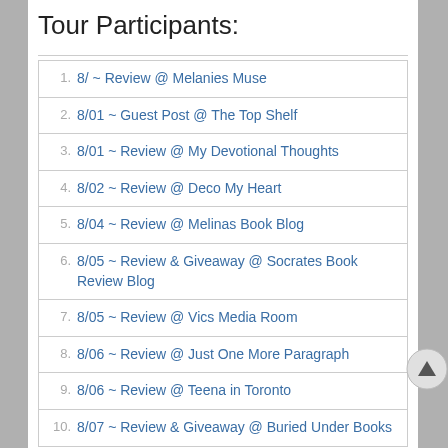Tour Participants:
8/ ~ Review @ Melanies Muse
8/01 ~ Guest Post @ The Top Shelf
8/01 ~ Review @ My Devotional Thoughts
8/02 ~ Review @ Deco My Heart
8/04 ~ Review @ Melinas Book Blog
8/05 ~ Review & Giveaway @ Socrates Book Review Blog
8/05 ~ Review @ Vics Media Room
8/06 ~ Review @ Just One More Paragraph
8/06 ~ Review @ Teena in Toronto
8/07 ~ Review & Giveaway @ Buried Under Books